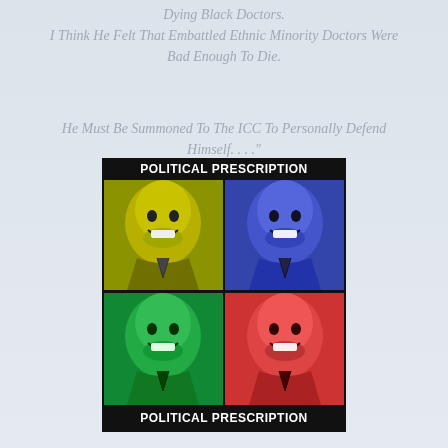Dying Black Doctors. I Think He Felt That Embattled Ethnic Minority Doctors Were Bad Enough To Die.
He Must Be Summoned To The ICC To Personally Defend Himself. . . ."
[Figure (illustration): A pop-art style 2x2 grid poster showing four colorized versions (yellow-green, blue, green, red) of the same smiling man in a suit, with 'POLITICAL PRESCRIPTION' text at top and bottom on black background.]
(footer text partially visible)